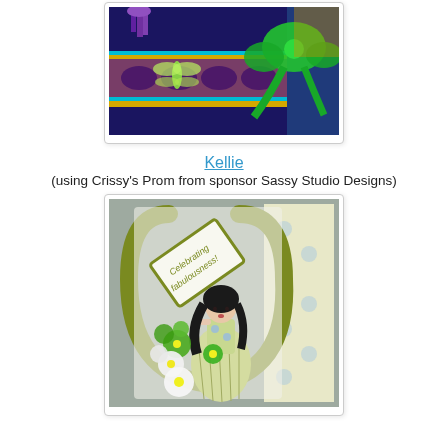[Figure (photo): Craft card with purple and yellow lace, green satin bow, blue background, and dragonfly embellishment]
Kellie
(using Crissy's Prom from sponsor Sassy Studio Designs)
[Figure (photo): Craft card featuring a girl in a green floral gown with flower embellishments and the text 'Celebrating fabulousness!' on an olive green horseshoe-shaped frame]